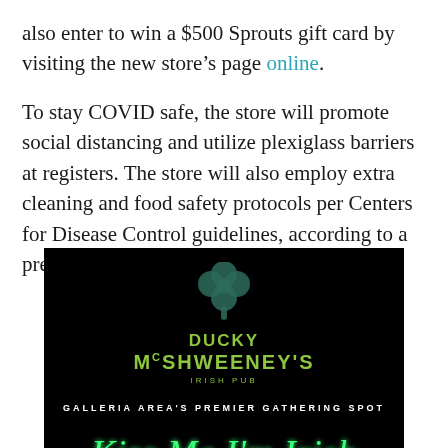also enter to win a $500 Sprouts gift card by visiting the new store's page online.
To stay COVID safe, the store will promote social distancing and utilize plexiglass barriers at registers. The store will also employ extra cleaning and food safety protocols per Centers for Disease Control guidelines, according to a press release.
[Figure (logo): Ducky McShweeney's Irish Pub logo on black background with shamrock graphic, text 'GALLERIA AREA'S PREMIER GATHERING SPOT', and neon-style text reading 'Kiss Me I'm Irish']